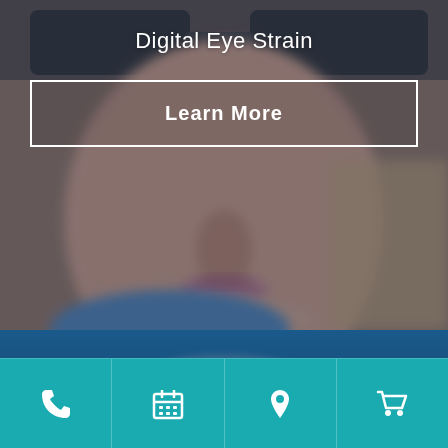[Figure (photo): Blurred close-up photo of a child wearing large glasses, background bokeh effect with dark overlay]
Digital Eye Strain
Learn More
[Figure (photo): Photo of protective swim/sport goggles on a dark blue background]
[Figure (infographic): Bottom navigation bar with four icons: phone, calendar, location pin, shopping cart]